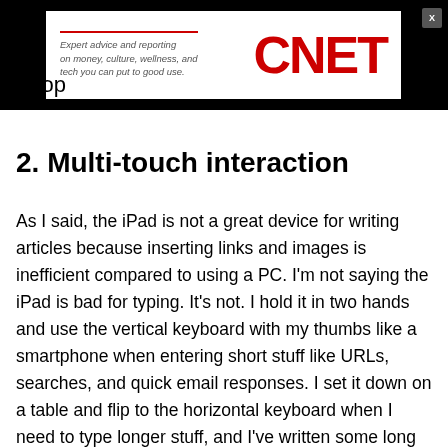[Figure (other): CNET advertisement banner with tagline 'Expert advice and reporting on money, culture, wellness, and tech you can put to good use.' and CNET logo in red on white background, surrounded by black bar]
laptop
2. Multi-touch interaction
As I said, the iPad is not a great device for writing articles because inserting links and images is inefficient compared to using a PC. I'm not saying the iPad is bad for typing. It's not. I hold it in two hands and use the vertical keyboard with my thumbs like a smartphone when entering short stuff like URLs, searches, and quick email responses. I set it down on a table and flip to the horizontal keyboard when I need to type longer stuff, and I've written some long articles on it during flights (and the iPad was much nicer to work with on a tray table than a standard laptop). But, when I got back I had to open up